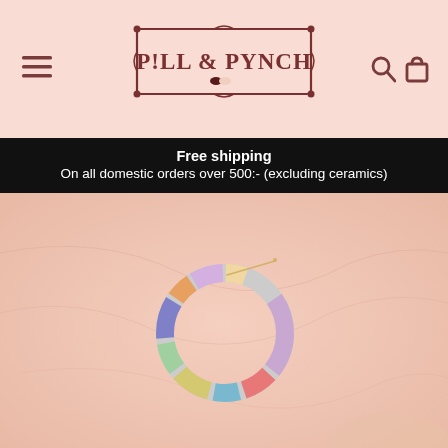[Figure (logo): Pill & Punch ornate logo in dark brown on pink background with hamburger menu icon on left and search/cart icons on right]
Free shipping
On all domestic orders over 500:- (excluding ceramics)
[Figure (photo): Close-up product photo of a colorful multi-colored resin hoop earring on a soft pink fabric background]